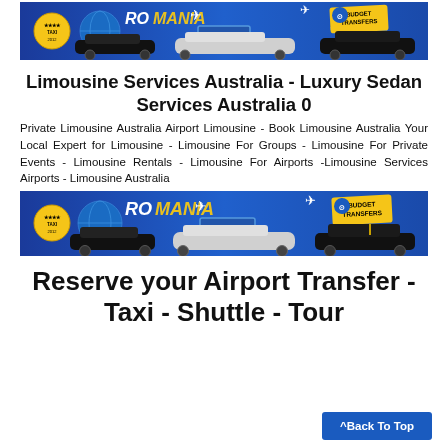[Figure (photo): Banner image with ROMANIA text, airport limousine branding, black and white cars, airplanes, Budget Transfers logo on blue background]
Limousine Services Australia - Luxury Sedan Services Australia 0
Private Limousine Australia Airport Limousine - Book Limousine Australia Your Local Expert for Limousine - Limousine For Groups - Limousine For Private Events - Limousine Rentals - Limousine For Airports -Limousine Services Airports - Limousine Australia
[Figure (photo): Second banner image with ROMANIA text, airport limousine branding, black and white cars, airplanes, Budget Transfers logo on blue background]
Reserve your Airport Transfer - Taxi - Shuttle - Tour
^Back To Top